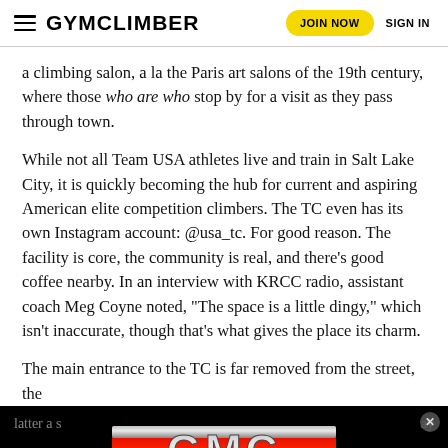GYMCLIMBER  JOIN NOW  SIGN IN
a climbing salon, a la the Paris art salons of the 19th century, where those who are who stop by for a visit as they pass through town.
While not all Team USA athletes live and train in Salt Lake City, it is quickly becoming the hub for current and aspiring American elite competition climbers. The TC even has its own Instagram account: @usa_tc. For good reason. The facility is core, the community is real, and there’s good coffee nearby. In an interview with KRCC radio, assistant coach Meg Coyne noted, “The space is a little dingy,” which isn’t inaccurate, though that’s what gives the place its charm.
The main entrance to the TC is far removed from the street, the latter a s… ay slicing S… a sign
[Figure (other): GMC logo advertisement banner overlay at the bottom of the page, black background with red and silver GMC lettering]